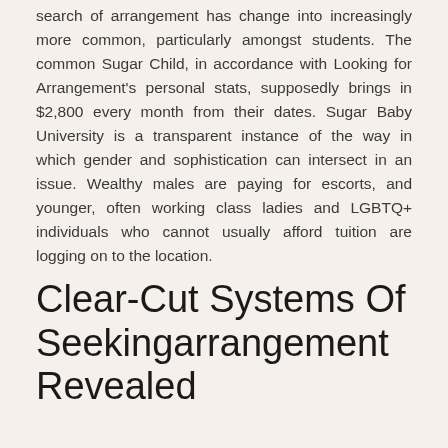search of arrangement has change into increasingly more common, particularly amongst students. The common Sugar Child, in accordance with Looking for Arrangement's personal stats, supposedly brings in $2,800 every month from their dates. Sugar Baby University is a transparent instance of the way in which gender and sophistication can intersect in an issue. Wealthy males are paying for escorts, and younger, often working class ladies and LGBTQ+ individuals who cannot usually afford tuition are logging on to the location.
Clear-Cut Systems Of Seekingarrangement Revealed
[Figure (photo): Dark top portion of an image block, with a light skin-toned figure visible at bottom right, and a caption label reading 'TO XHAMSTER.COM' at the bottom left]